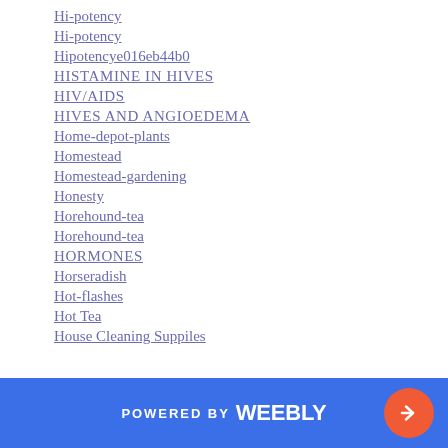Hi-potency
Hi-potency
Hipotencye016eb44b0
HISTAMINE IN HIVES
HIV/AIDS
HIVES AND ANGIOEDEMA
Home-depot-plants
Homestead
Homestead-gardening
Honesty
Horehound-tea
Horehound-tea
HORMONES
Horseradish
Hot-flashes
Hot Tea
House Cleaning Suppiles
POWERED BY weebly